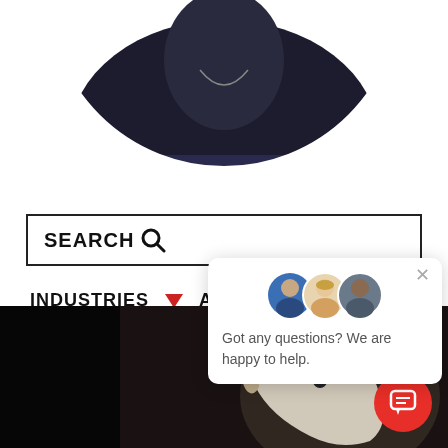[Figure (photo): Circular cropped profile photo of a person wearing a dark navy/black outfit with a chain necklace, upper body visible, white background.]
[Figure (screenshot): Search bar with text SEARCH and magnifying glass icon, bordered rectangle.]
INDUSTRIES ▼ AUT
[Figure (screenshot): Chat popup widget with three avatar photos and text: Got any questions? We are happy to help. With close X button.]
[Figure (photo): Bottom image strip showing a white horse head against a dark background with partial text 'alert' on the left side in vertical orientation, and a red circular chat button in lower right corner.]